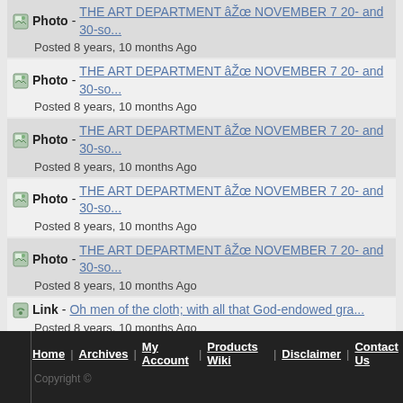Photo - THE ART DEPARTMENT âŽœ NOVEMBER 7 20- and 30-so... Posted 8 years, 10 months Ago
Photo - THE ART DEPARTMENT âŽœ NOVEMBER 7 20- and 30-so... Posted 8 years, 10 months Ago
Photo - THE ART DEPARTMENT âŽœ NOVEMBER 7 20- and 30-so... Posted 8 years, 10 months Ago
Photo - THE ART DEPARTMENT âŽœ NOVEMBER 7 20- and 30-so... Posted 8 years, 10 months Ago
Photo - THE ART DEPARTMENT âŽœ NOVEMBER 7 20- and 30-so... Posted 8 years, 10 months Ago
Link - Oh men of the cloth; with all that God-endowed gra... Posted 8 years, 10 months Ago
Recent posts from our blog...
Home | Archives | My Account | Products Wiki | Disclaimer | Contact Us  Copyright ©